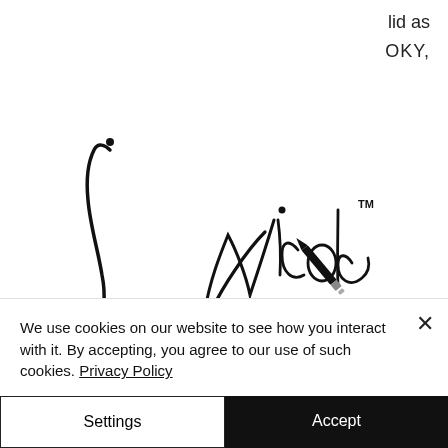lid as
OKY,
[Figure (logo): Nicole Events handwritten script logo with TM mark and pen illustration, with 'EVENTS' printed below in spaced caps]
[Figure (other): Hamburger menu button icon inside a circle]
Incinerator - 166.2 ltc
Misty Forest - 500.8 bch
We use cookies on our website to see how you interact with it. By accepting, you agree to our use of such cookies. Privacy Policy
Settings
Accept